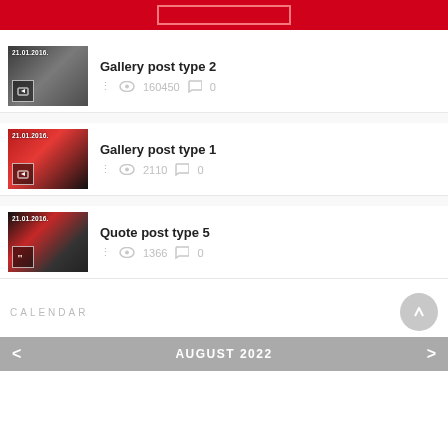[Figure (screenshot): Red banner at top with outlined rectangle button]
Gallery post type 2 | 21.01.2016. | 160450 views | 0 comments
Gallery post type 1 | 21.01.2016. | 2110 views | 0 comments
Quote post type 5 | 21.01.2016. | 1366 views | 0 comments
CALENDAR
AUGUST 2022